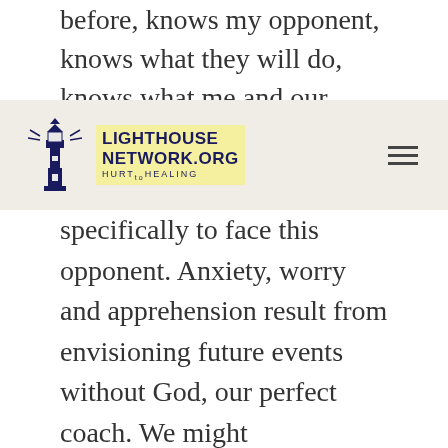before, knows my opponent, knows what they will do, knows what me and our team
[Figure (logo): Lighthouse Network.org HURT to HEALING logo with lighthouse icon and navigation hamburger menu]
specifically to face this opponent. Anxiety, worry and apprehension result from envisioning future events without God, our perfect coach. We might acknowledge He is our coach, but if we're anxious, we aren't really believing and following His coaching. He knows us, our opponent-Satan and Satan's strategies, knows what the future holds, and loves us so much that He gave His son to secure our ultimate future. In any situation, if you turn your thoughts toward